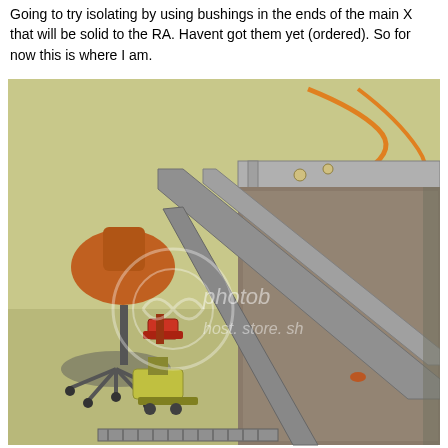Going to try isolating by using bushings in the ends of the main X that will be solid to the RA. Havent got them yet (ordered). So for now this is where I am.
[Figure (photo): Workshop photo showing a metal frame structure with steel rails/bars laid on a concrete floor. A rolling office chair (orange seat) is visible in the background on the left. Various clamps and tools are visible. A Photobucket watermark overlay is visible on the photo reading 'photobucket host. store. sh'.]